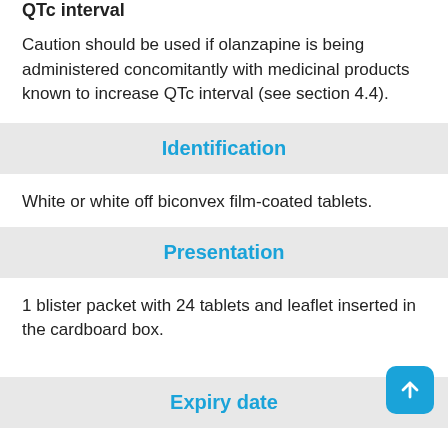QTc interval
Caution should be used if olanzapine is being administered concomitantly with medicinal products known to increase QTc interval (see section 4.4).
Identification
White or white off biconvex film-coated tablets.
Presentation
1 blister packet with 24 tablets and leaflet inserted in the cardboard box.
Expiry date